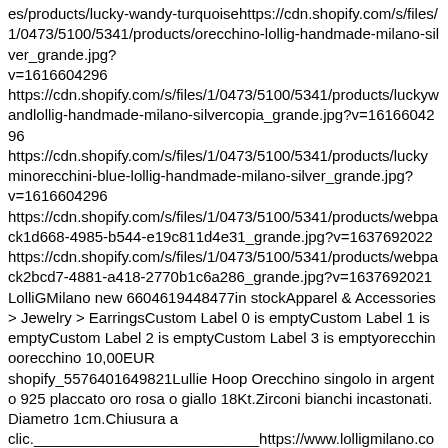es/products/lucky-wandy-turquoisehttps://cdn.shopify.com/s/files/1/0473/5100/5341/products/orecchino-lollig-handmade-milano-silver_grande.jpg?v=1616604296 https://cdn.shopify.com/s/files/1/0473/5100/5341/products/luckywandlollig-handmade-milano-silvercopia_grande.jpg?v=1616604296 https://cdn.shopify.com/s/files/1/0473/5100/5341/products/luckyminorecchini-blue-lollig-handmade-milano-silver_grande.jpg?v=1616604296 https://cdn.shopify.com/s/files/1/0473/5100/5341/products/webpack1d668-4985-b544-e19c811d4e31_grande.jpg?v=1637692022 https://cdn.shopify.com/s/files/1/0473/5100/5341/products/webpack2bcd7-4881-a418-2770b1c6a286_grande.jpg?v=1637692021 LolliGMilano new 6604619448477in stockApparel & Accessories > Jewelry > EarringsCustom Label 0 is emptyCustom Label 1 is emptyCustom Label 2 is emptyCustom Label 3 is emptyorecchinoorecchino 10,00EUR shopify_5576401649821Lullie Hoop Orecchino singolo in argento 925 placcato oro rosa o giallo 18Kt.Zirconi bianchi incastonati.Diametro 1cm.Chiusura a clic.___________________________https://www.lolligmilano.comes/products/lullie-hoophttps://cdn.shopify.com/s/files/1/0473/5100/5341/products/lullierose-handmade-collection-milano_grande.jpg?v=1614165016 https://cdn.shopify.com/s/files/1/0473/5100/5341/products/LULLIEH